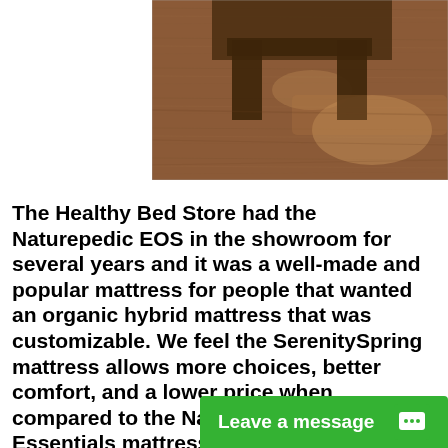[Figure (photo): Photo of a wood floor with warm brown tones and part of a wooden furniture leg visible at the top, lit with natural light creating reflections on the floor surface.]
The Healthy Bed Store had the Naturepedic EOS in the showroom for several years and it was a well-made and popular mattress for people that wanted an organic hybrid mattress that was customizable. We feel the SerenitySpring mattress allows more choices, better comfort, and a lower price when compared to the Naturepedic EOS Essentials mattress.